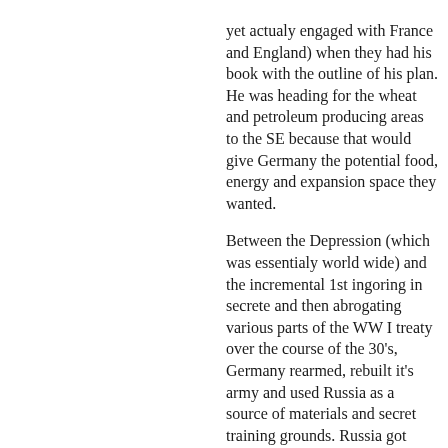yet actualy engaged with France and England) when they had his book with the outline of his plan. He was heading for the wheat and petroleum producing areas to the SE because that would give Germany the potential food, energy and expansion space they wanted. Between the Depression (which was essentialy world wide) and the incremental 1st ingoring in secrete and then abrogating various parts of the WW I treaty over the course of the 30's, Germany rearmed, rebuilt it's army and used Russia as a source of materials and secret training grounds. Russia got technology and information. It also got a free hand to grab that half of Poland. And nobody stopped them. It's the whole bully thing. They get away with the small stuff and they go for bigger things. The more they